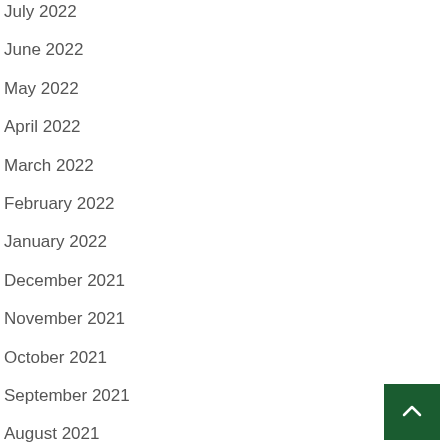July 2022
June 2022
May 2022
April 2022
March 2022
February 2022
January 2022
December 2021
November 2021
October 2021
September 2021
August 2021
July 2021
[Figure (other): Back to top button: dark green square with white upward chevron arrow]